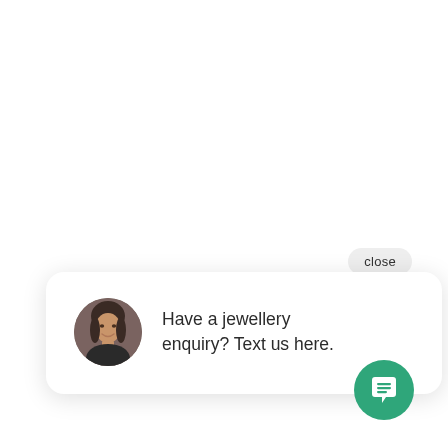close
[Figure (screenshot): Chat popup card with a woman's circular avatar photo on the left and the message 'Have a jewellery enquiry? Text us here.' on the right, rendered as a white rounded rectangle with a drop shadow and a speech bubble tail pointing downward-right]
Have a jewellery enquiry? Text us here.
[Figure (illustration): Green circular FAB button with a white chat/message icon (three horizontal lines inside a speech bubble shape) in the bottom-right corner]